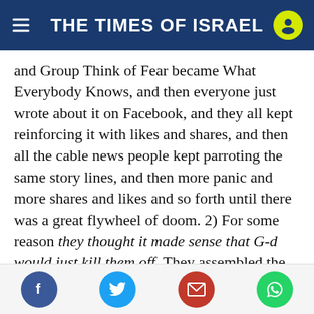THE TIMES OF ISRAEL
and Group Think of Fear became What Everybody Knows, and then everyone just wrote about it on Facebook, and they all kept reinforcing it with likes and shares, and then all the cable news people kept parroting the same story lines, and then more panic and more shares and likes and so forth until there was a great flywheel of doom. 2) For some reason they thought it made sense that G-d would just kill them off. They assembled the data they had and concluded; it makes sense.

To explain why they thought that we need a bit of context. You see, with the obvious exception of the
Facebook | Twitter | Email | WhatsApp